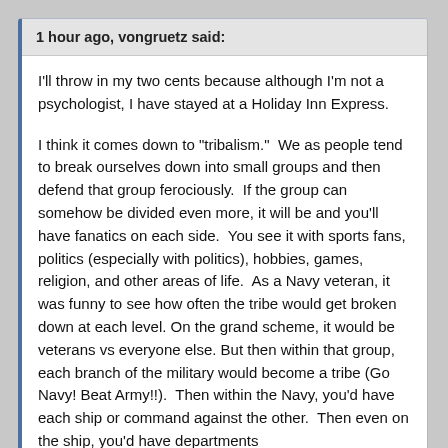1 hour ago, vongruetz said:
I'll throw in my two cents because although I'm not a psychologist, I have stayed at a Holiday Inn Express.
I think it comes down to "tribalism."  We as people tend to break ourselves down into small groups and then defend that group ferociously.  If the group can somehow be divided even more, it will be and you'll have fanatics on each side.  You see it with sports fans, politics (especially with politics), hobbies, games, religion, and other areas of life.  As a Navy veteran, it was funny to see how often the tribe would get broken down at each level. On the grand scheme, it would be veterans vs everyone else. But then within that group, each branch of the military would become a tribe (Go Navy! Beat Army!!).  Then within the Navy, you'd have each ship or command against the other.  Then even on the ship, you'd have departments sort of battling each other within the sub-elements.